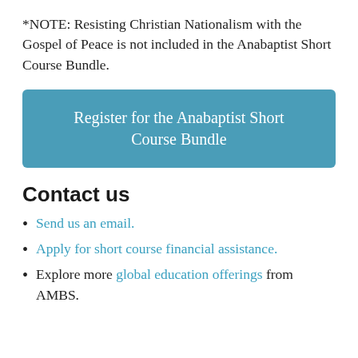*NOTE: Resisting Christian Nationalism with the Gospel of Peace is not included in the Anabaptist Short Course Bundle.
Register for the Anabaptist Short Course Bundle
Contact us
Send us an email.
Apply for short course financial assistance.
Explore more global education offerings from AMBS.